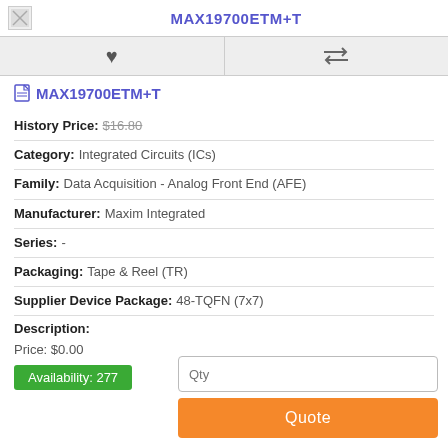MAX19700ETM+T
MAX19700ETM+T
History Price: $16.80
Category: Integrated Circuits (ICs)
Family: Data Acquisition - Analog Front End (AFE)
Manufacturer: Maxim Integrated
Series: -
Packaging: Tape & Reel (TR)
Supplier Device Package: 48-TQFN (7x7)
Description:
Price: $0.00
Availability: 277